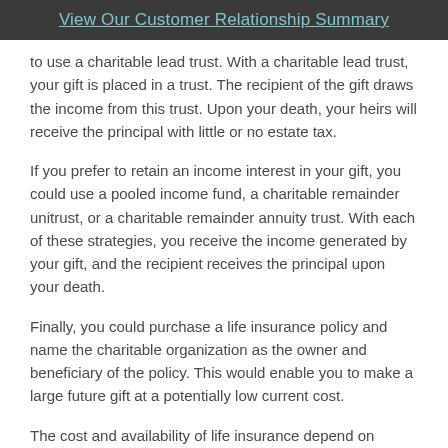View Our Customer Relationship Summary
to use a charitable lead trust. With a charitable lead trust, your gift is placed in a trust. The recipient of the gift draws the income from this trust. Upon your death, your heirs will receive the principal with little or no estate tax.
If you prefer to retain an income interest in your gift, you could use a pooled income fund, a charitable remainder unitrust, or a charitable remainder annuity trust. With each of these strategies, you receive the income generated by your gift, and the recipient receives the principal upon your death.
Finally, you could purchase a life insurance policy and name the charitable organization as the owner and beneficiary of the policy. This would enable you to make a large future gift at a potentially low current cost.
The cost and availability of life insurance depend on